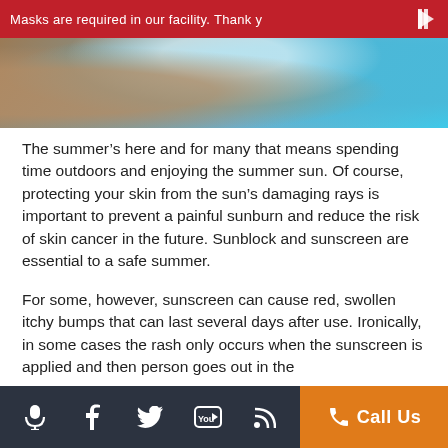Masks are required in our facility. Thank y
[Figure (photo): Swimming pool scene with person swimming, water splashing, turquoise water]
The summer’s here and for many that means spending time outdoors and enjoying the summer sun. Of course, protecting your skin from the sun’s damaging rays is important to prevent a painful sunburn and reduce the risk of skin cancer in the future. Sunblock and sunscreen are essential to a safe summer.
For some, however, sunscreen can cause red, swollen itchy bumps that can last several days after use. Ironically, in some cases the rash only occurs when the sunscreen is applied and then person goes out in the sun. This is known as photoallergic reaction products
Call Us